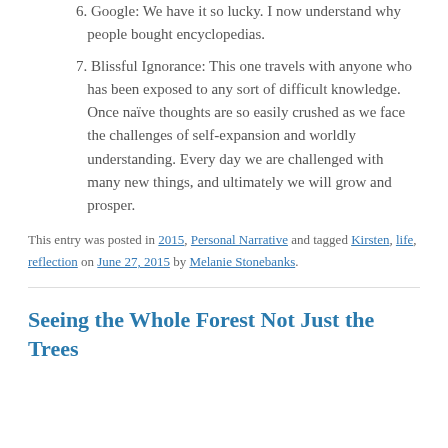6. Google: We have it so lucky. I now understand why people bought encyclopedias.
7. Blissful Ignorance: This one travels with anyone who has been exposed to any sort of difficult knowledge. Once naïve thoughts are so easily crushed as we face the challenges of self-expansion and worldly understanding. Every day we are challenged with many new things, and ultimately we will grow and prosper.
This entry was posted in 2015, Personal Narrative and tagged Kirsten, life, reflection on June 27, 2015 by Melanie Stonebanks.
Seeing the Whole Forest Not Just the Trees